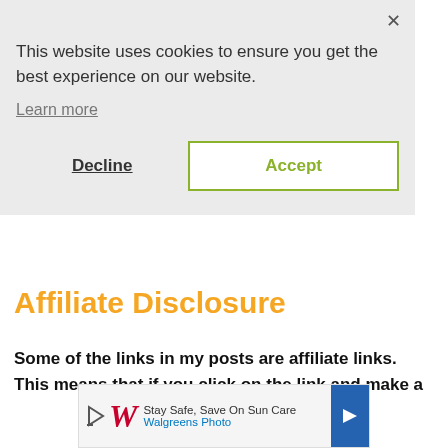This website uses cookies to ensure you get the best experience on our website.
Learn more
Decline
Accept
Affiliate Disclosure
Some of the links in my posts are affiliate links. This means that if you click on the link and make a
[Figure (screenshot): Walgreens Photo advertisement banner: 'Stay Safe, Save On Sun Care' with Walgreens Photo logo and blue arrow button]